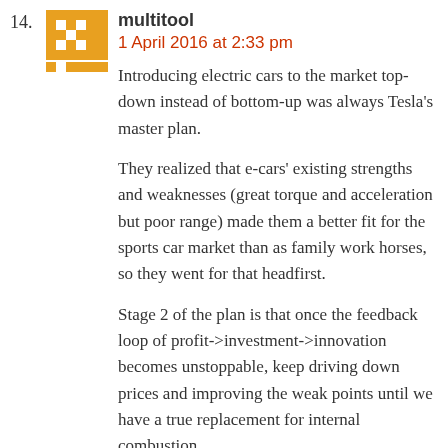14. multitool
1 April 2016 at 2:33 pm

Introducing electric cars to the market top-down instead of bottom-up was always Tesla’s master plan.

They realized that e-cars’ existing strengths and weaknesses (great torque and acceleration but poor range) made them a better fit for the sports car market than as family work horses, so they went for that headfirst.

Stage 2 of the plan is that once the feedback loop of profit->investment->innovation becomes unstoppable, keep driving down prices and improving the weak points until we have a true replacement for internal combustion.

They DO have college professors in mind, they’re just